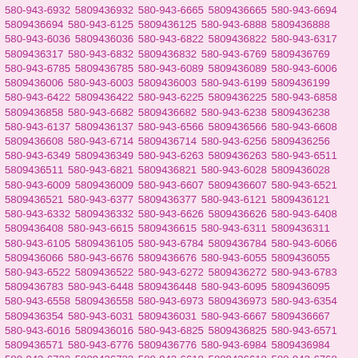580-943-6932 5809436932 580-943-6665 5809436665 580-943-6694 5809436694 580-943-6125 5809436125 580-943-6888 5809436888 580-943-6036 5809436036 580-943-6822 5809436822 580-943-6317 5809436317 580-943-6832 5809436832 580-943-6769 5809436769 580-943-6785 5809436785 580-943-6089 5809436089 580-943-6006 5809436006 580-943-6003 5809436003 580-943-6199 5809436199 580-943-6422 5809436422 580-943-6225 5809436225 580-943-6858 5809436858 580-943-6682 5809436682 580-943-6238 5809436238 580-943-6137 5809436137 580-943-6566 5809436566 580-943-6608 5809436608 580-943-6714 5809436714 580-943-6256 5809436256 580-943-6349 5809436349 580-943-6263 5809436263 580-943-6511 5809436511 580-943-6821 5809436821 580-943-6028 5809436028 580-943-6009 5809436009 580-943-6607 5809436607 580-943-6521 5809436521 580-943-6377 5809436377 580-943-6121 5809436121 580-943-6332 5809436332 580-943-6626 5809436626 580-943-6408 5809436408 580-943-6615 5809436615 580-943-6311 5809436311 580-943-6105 5809436105 580-943-6784 5809436784 580-943-6066 5809436066 580-943-6676 5809436676 580-943-6055 5809436055 580-943-6522 5809436522 580-943-6272 5809436272 580-943-6783 5809436783 580-943-6448 5809436448 580-943-6095 5809436095 580-943-6558 5809436558 580-943-6973 5809436973 580-943-6354 5809436354 580-943-6031 5809436031 580-943-6667 5809436667 580-943-6016 5809436016 580-943-6825 5809436825 580-943-6571 5809436571 580-943-6776 5809436776 580-943-6984 5809436984 580-943-6722 5809436722 580-943-6618 5809436618 580-943-6768 5809436768 580-943-6801 5809436801 580-943-6963 5809436963 580-943-6024 5809436024 580-943-6720 5809436720 580-943-6254